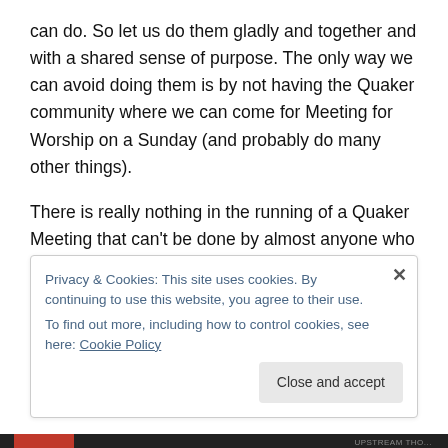can do. So let us do them gladly and together and with a shared sense of purpose. The only way we can avoid doing them is by not having the Quaker community where we can come for Meeting for Worship on a Sunday (and probably do many other things).
There is really nothing in the running of a Quaker Meeting that can't be done by almost anyone who belongs to the Meeting; the 'I don't do numbers' response to a suggestion that someone might take on being Treasurer for a while; the 'I don't know anything about buildings' response to an
Privacy & Cookies: This site uses cookies. By continuing to use this website, you agree to their use.
To find out more, including how to control cookies, see here: Cookie Policy